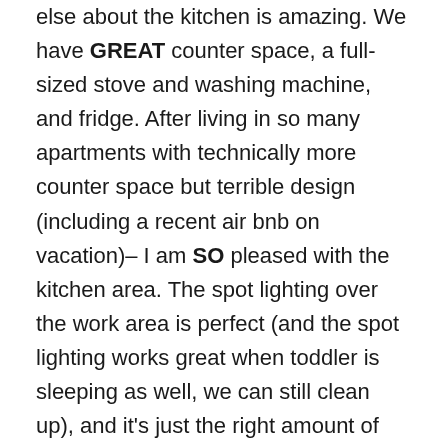else about the kitchen is amazing. We have GREAT counter space, a full-sized stove and washing machine, and fridge. After living in so many apartments with technically more counter space but terrible design (including a recent air bnb on vacation)– I am SO pleased with the kitchen area. The spot lighting over the work area is perfect (and the spot lighting works great when toddler is sleeping as well, we can still clean up), and it's just the right amount of storage space.
Kid in eyesight: There have been a few times when I wished I had a door to shut to hide from the toddler (bathroom is our only one!) But I can honestly say 99% of the time, the open-plan small space is PERFECT for having a toddler. If he's outside I can hear him even if I can't see him, and if he's inside, I can see him anywhere. David does